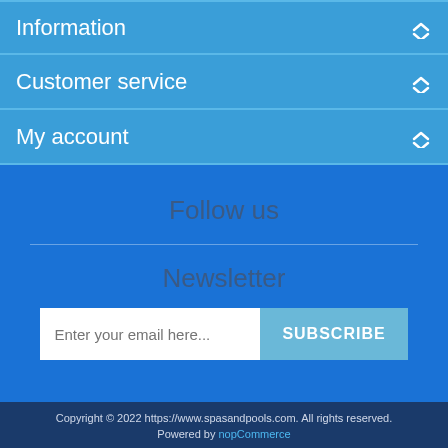Information
Customer service
My account
Follow us
Newsletter
Enter your email here...
SUBSCRIBE
Copyright © 2022 https://www.spasandpools.com. All rights reserved. Powered by nopCommerce